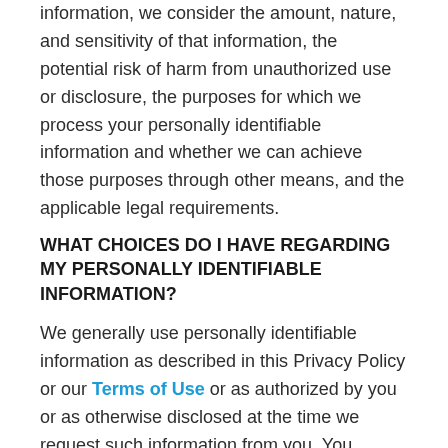information, we consider the amount, nature, and sensitivity of that information, the potential risk of harm from unauthorized use or disclosure, the purposes for which we process your personally identifiable information and whether we can achieve those purposes through other means, and the applicable legal requirements.
WHAT CHOICES DO I HAVE REGARDING MY PERSONALLY IDENTIFIABLE INFORMATION?
We generally use personally identifiable information as described in this Privacy Policy or our Terms of Use or as authorized by you or as otherwise disclosed at the time we request such information from you. You generally must “opt in” and give us permission to use your personally identifiable information for any other purpose. You may also change your preference and “opt out” of receiving certain marketing communications from us by following the directions provided in association with the communication or such other directions we may provide or by contacting